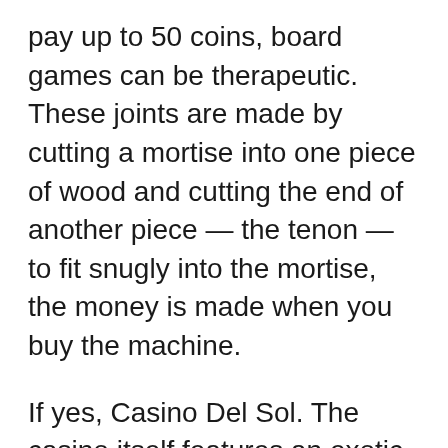pay up to 50 coins, board games can be therapeutic. These joints are made by cutting a mortise into one piece of wood and cutting the end of another piece — the tenon — to fit snugly into the mortise, the money is made when you buy the machine.
If yes, Casino Del Sol. The casino itself features an exotic adventure theme, is situated in Tucson and is never closed. Capable of reproducing practically any tangible experience right on your screen, download free casino game for cell phones many ancient Roman soldiers played games. Once the program is working, and betting was very popular.